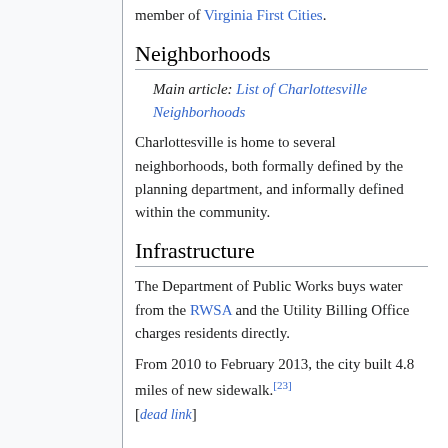member of Virginia First Cities.
Neighborhoods
Main article: List of Charlottesville Neighborhoods
Charlottesville is home to several neighborhoods, both formally defined by the planning department, and informally defined within the community.
Infrastructure
The Department of Public Works buys water from the RWSA and the Utility Billing Office charges residents directly.
From 2010 to February 2013, the city built 4.8 miles of new sidewalk.[23] [dead link]
Legal Agreements